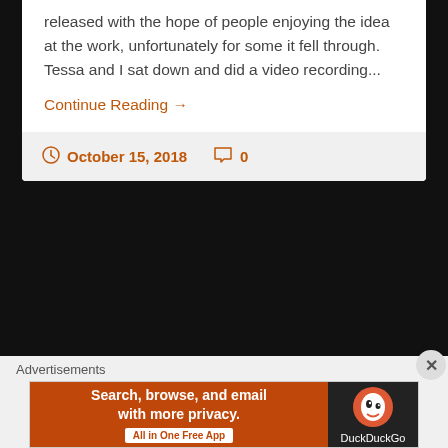released with the hope of people enjoying the idea at the work, unfortunately for some it fell through. Tessa and I sat down and did a video recording...
Continue Reading →
October 15, 2018  0
Advertisements
[Figure (screenshot): DuckDuckGo advertisement banner: 'Search, browse, and email with more privacy. All in One Free App' on orange background with DuckDuckGo logo on black background.]